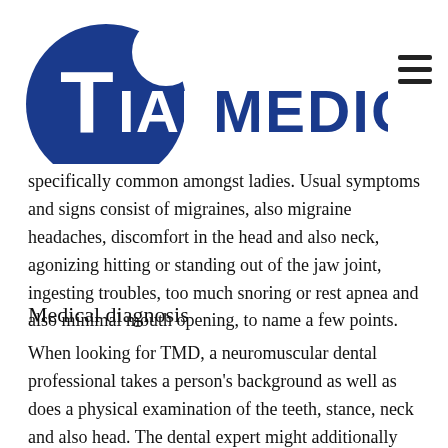Tian Medical
specifically common amongst ladies. Usual symptoms and signs consist of migraines, also migraine headaches, discomfort in the head and also neck, agonizing hitting or standing out of the jaw joint, ingesting troubles, too much snoring or rest apnea and also minimal mouth opening, to name a few points.
Medical diagnosis
When looking for TMD, a neuromuscular dental professional takes a person's background as well as does a physical examination of the teeth, stance, neck and also head. The dental expert might additionally perform a collection of examinations utilizing noninvasive tools. If it is established that the client's bite is the most likely source of the discomfort, the